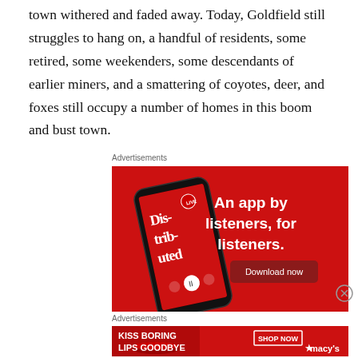town withered and faded away. Today, Goldfield still struggles to hang on, a handful of residents, some retired, some weekenders, some descendants of earlier miners, and a smattering of coyotes, deer, and foxes still occupy a number of homes in this boom and bust town.
Advertisements
[Figure (photo): Advertisement for a podcast app called 'Distributed' showing a smartphone with red background. Text reads: 'An app by listeners, for listeners.' with a 'Download now' button.]
Advertisements
[Figure (photo): Macy's advertisement showing a woman's face with red lipstick. Text reads: 'KISS BORING LIPS GOODBYE' with 'SHOP NOW' button and Macy's star logo.]